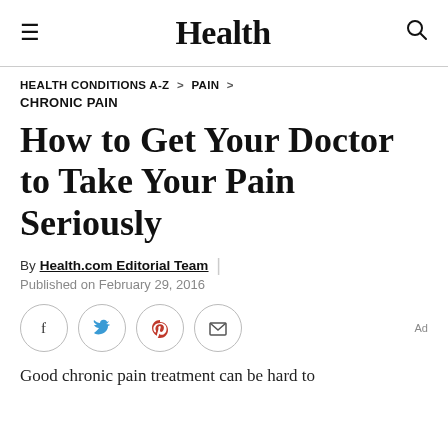Health
HEALTH CONDITIONS A-Z > PAIN >
CHRONIC PAIN
How to Get Your Doctor to Take Your Pain Seriously
By Health.com Editorial Team | Published on February 29, 2016
[Figure (other): Social sharing buttons: Facebook, Twitter, Pinterest, Email; Ad label on right]
Good chronic pain treatment can be hard to